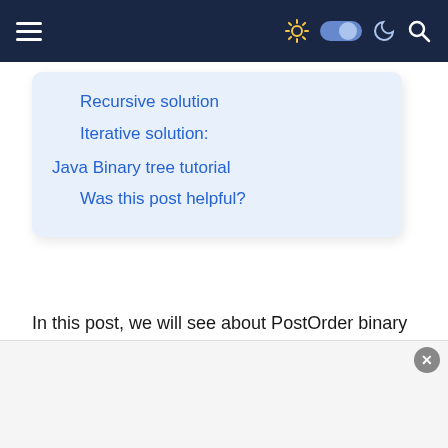navigation bar with hamburger menu and icons
Recursive solution
Iterative solution:
Java Binary tree tutorial
Was this post helpful?
In this post, we will see about PostOrder binary tree traversal in java.
PostOrder traversal
In PostOrder traversal, each node is processed